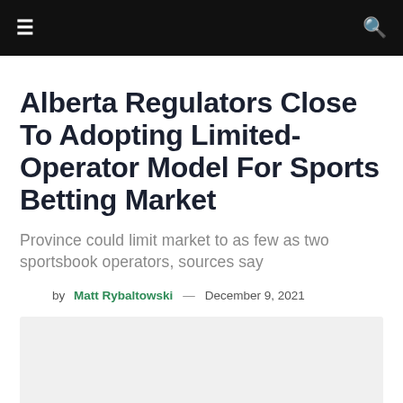≡  🔍
Alberta Regulators Close To Adopting Limited-Operator Model For Sports Betting Market
Province could limit market to as few as two sportsbook operators, sources say
by Matt Rybaltowski — December 9, 2021
[Figure (photo): Light grey placeholder image area]